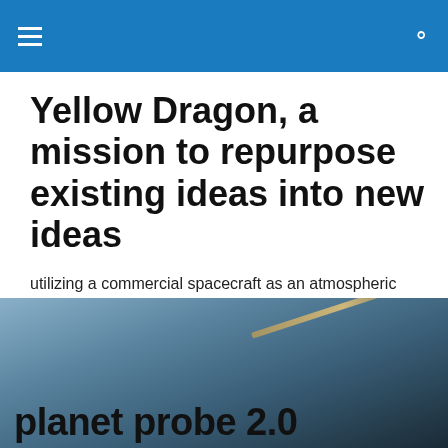Yellow Dragon, a mission to repurpose existing ideas into new ideas
utilizing a commercial spacecraft as an atmospheric probe delivery system
[Figure (photo): Atmospheric/space photo showing a spacecraft or planetary surface with a light streak/glare, partially obscured by a cookie consent banner overlay.]
Privacy & Cookies: This site uses cookies. By continuing to use this website, you agree to their use.
To find out more, including how to control cookies, see here: Cookie Policy
Close and accept
planet probe 2.0